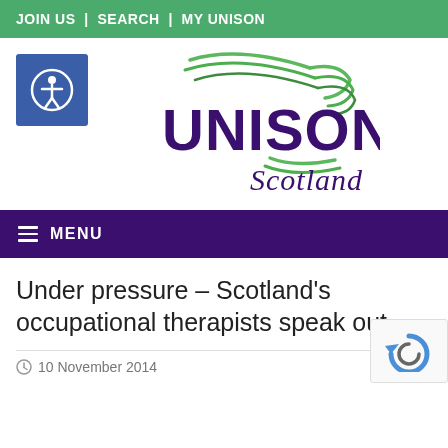JOIN US | SEARCH | MY UNISON
[Figure (logo): UNISON Scotland logo with green swoosh lines above the purple UNISON text and italic Scotland text below]
MENU
Under pressure – Scotland's occupational therapists speak out
10 November 2014